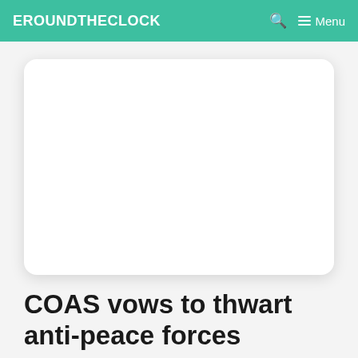EROUNDTHECLOCK
[Figure (photo): A white rounded rectangle card on a light gray background, representing a placeholder image area.]
COAS vows to thwart anti-peace forces